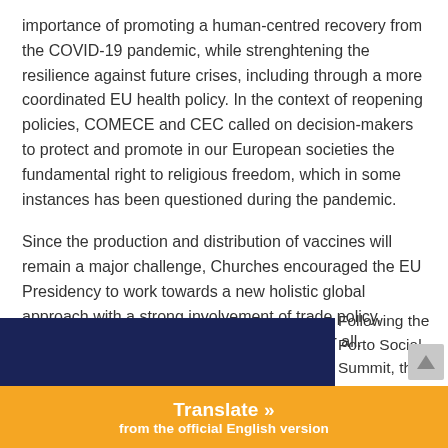importance of promoting a human-centred recovery from the COVID-19 pandemic, while strenghtening the resilience against future crises, including through a more coordinated EU health policy. In the context of reopening policies, COMECE and CEC called on decision-makers to protect and promote in our European societies the fundamental right to religious freedom, which in some instances has been questioned during the pandemic.
Since the production and distribution of vaccines will remain a major challenge, Churches encouraged the EU Presidency to work towards a new holistic global approach with a strong involvement of trade policy, ensuring an equitable access to vaccines for all.
[Figure (photo): EU flag showing yellow stars on dark blue background, partially visible in lower left of page]
Following the Porto Social Summit, the
Translate » from the official English version